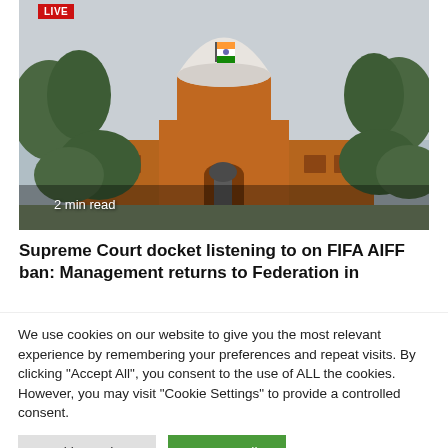[Figure (photo): Photo of the Supreme Court of India building with a large dome, red sandstone facade, Indian flag visible, trees in foreground, overcast sky. A 'LIVE' badge appears in the top-left corner and '2 min read' text overlay at the bottom-left.]
Supreme Court docket listening to on FIFA AIFF ban: Management returns to Federation in
We use cookies on our website to give you the most relevant experience by remembering your preferences and repeat visits. By clicking "Accept All", you consent to the use of ALL the cookies. However, you may visit "Cookie Settings" to provide a controlled consent.